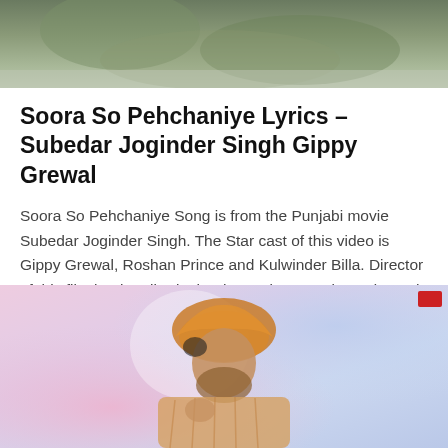[Figure (photo): Partial top image, appears to be a blurred/muted greenish scene, cropped at the top of the page]
Soora So Pehchaniye Lyrics – Subedar Joginder Singh Gippy Grewal
Soora So Pehchaniye Song is from the Punjabi movie Subedar Joginder Singh. The Star cast of this video is Gippy Grewal, Roshan Prince and Kulwinder Billa. Director of this film is Simerjit Singh. TheMovie was released on 6th April 2018....
[Figure (photo): A man wearing an orange/golden turban and traditional attire, appears to be singing or speaking, with a pink and blue blurred background]